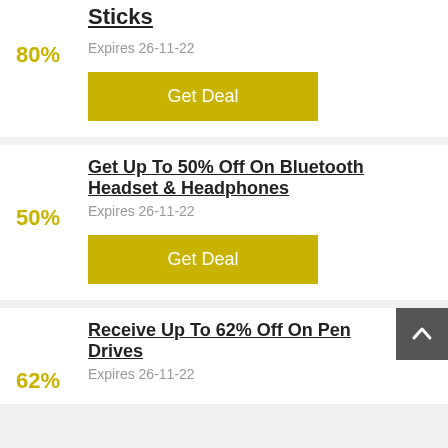Sticks
Expires 26-11-22
80%
Get Deal
Get Up To 50% Off On Bluetooth Headset & Headphones
Expires 26-11-22
50%
Get Deal
Receive Up To 62% Off On Pen Drives
Expires 26-11-22
62%
Get Deal